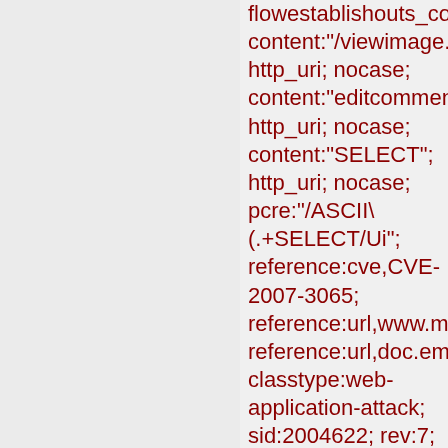flowestablishouts_content:"/viewimage.php? http_uri; nocase; content:"editcomment="; http_uri; nocase; content:"SELECT"; http_uri; nocase; pcre:"/ASCII\(.+SELECT/Ui"; reference:cve,CVE-2007-3065; reference:url,www.milw0r reference:url,doc.emergin classtype:web-application-attack; sid:2004622; rev:7; metadata:affected_produ Web_Server_Applications attack_target Web_Server, created_at 2010_07_30, deployment Datacenter